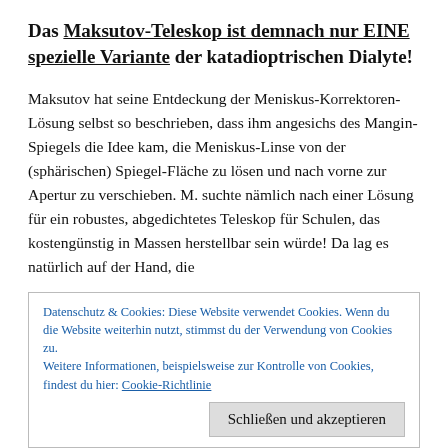Das Maksutov-Teleskop ist demnach nur EINE spezielle Variante der katadioptrischen Dialyte!
Maksutov hat seine Entdeckung der Meniskus-Korrektoren-Lösung selbst so beschrieben, dass ihm angesichs des Mangin-Spiegels die Idee kam, die Meniskus-Linse von der (sphärischen) Spiegel-Fläche zu lösen und nach vorne zur Apertur zu verschieben. M. suchte nämlich nach einer Lösung für ein robustes, abgedichtetes Teleskop für Schulen, das kostengünstig in Massen herstellbar sein würde! Da lag es natürlich auf der Hand, die
Datenschutz & Cookies: Diese Website verwendet Cookies. Wenn du die Website weiterhin nutzt, stimmst du der Verwendung von Cookies zu.
Weitere Informationen, beispielsweise zur Kontrolle von Cookies, findest du hier: Cookie-Richtlinie
Schließen und akzeptieren
insgesamt 46 Systemvarianten durchgerechnet